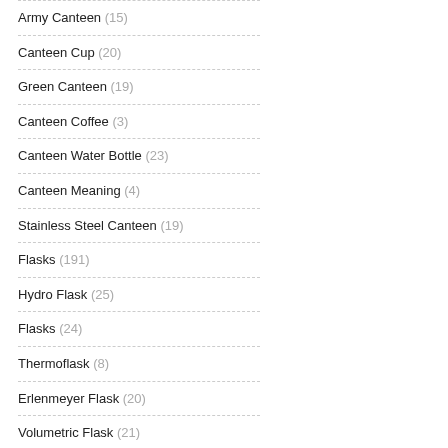Army Canteen (15)
Canteen Cup (20)
Green Canteen (19)
Canteen Coffee (3)
Canteen Water Bottle (23)
Canteen Meaning (4)
Stainless Steel Canteen (19)
Flasks (191)
Hydro Flask (25)
Flasks (24)
Thermoflask (8)
Erlenmeyer Flask (20)
Volumetric Flask (21)
Flask (27)
Plastic Flask (18)